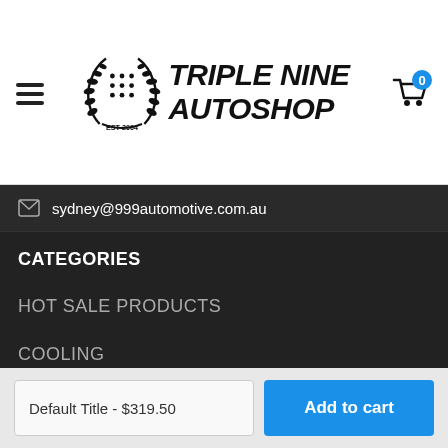[Figure (logo): Triple Nine Autoshop logo with laurel wreath emblem and EST 2004, hamburger menu icon on left, shopping cart icon with badge '0' on right]
sydney@999automotive.com.au
CATEGORIES
HOT SALE PRODUCTS
COOLING
SUSPENSION
BRAKES
CLUTCH
EXHAUST
ENGINE
INFORMATION
Default Title - $319.50
Add to cart